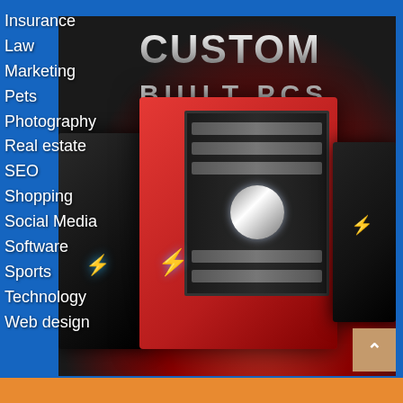Insurance
Law
Marketing
Pets
Photography
Real estate
SEO
Shopping
Social Media
Software
Sports
Technology
Web design
[Figure (photo): Custom built PCs advertisement showing red, black gaming PC towers with internal components visible, text overlay reading CUSTOM BUILT PCs]